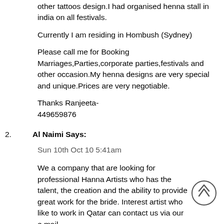other tattoos design.I had organised henna stall in india on all festivals.
Currently I am residing in Hombush (Sydney)
Please call me for Booking Marriages,Parties,corporate parties,festivals and other occasion.My henna designs are very special and unique.Prices are very negotiable.
Thanks Ranjeeta-
449659876
Al Naimi Says:
Sun 10th Oct 10 5:41am
We a company that are looking for professional Hanna Artists who has the talent, the creation and the ability to provide great work for the bride. Interest artist who like to work in Qatar can contact us via our e mail.
Qlecadeau@live.com